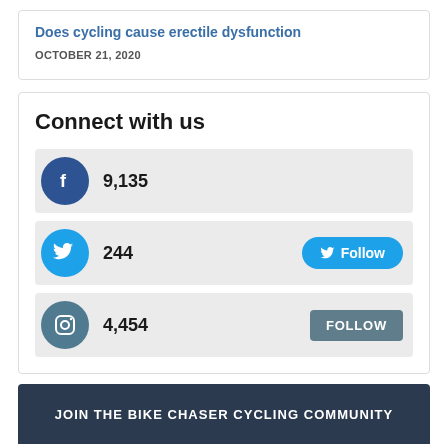Does cycling cause erectile dysfunction
OCTOBER 21, 2020
Connect with us
9,135
244
4,454
JOIN THE BIKE CHASER CYCLING COMMUNITY